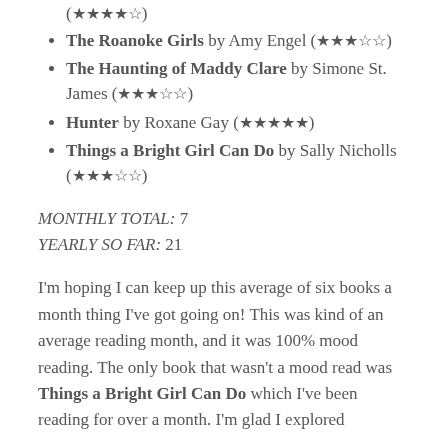Unmentionable by Therese Oneill (★★★★☆)
The Roanoke Girls by Amy Engel (★★★☆☆)
The Haunting of Maddy Clare by Simone St. James (★★★☆☆)
Hunter by Roxane Gay (★★★★★)
Things a Bright Girl Can Do by Sally Nicholls (★★★☆☆)
MONTHLY TOTAL: 7
YEARLY SO FAR: 21
I'm hoping I can keep up this average of six books a month thing I've got going on! This was kind of an average reading month, and it was 100% mood reading. The only book that wasn't a mood read was Things a Bright Girl Can Do which I've been reading for over a month. I'm glad I explored